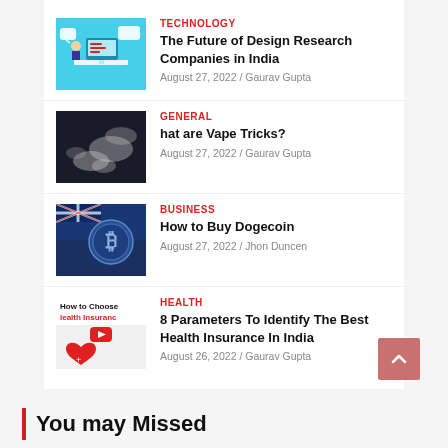[Figure (illustration): Technology article thumbnail: blue background with cartoon figure at computer desk]
TECHNOLOGY
The Future of Design Research Companies in India
August 27, 2022 / Gaurav Gupta
[Figure (photo): General article thumbnail: dark/smoke vape tricks photo]
GENERAL
hat are Vape Tricks?
August 27, 2022 / Gaurav Gupta
[Figure (photo): Business article thumbnail: Bitcoin coin with Australian flag]
BUSINESS
How to Buy Dogecoin
August 27, 2022 / Jhon Duncen
[Figure (photo): Health article thumbnail: How to Choose Health Insurance with heart icon]
HEALTH
8 Parameters To Identify The Best Health Insurance In India
August 26, 2022 / Gaurav Gupta
You may Missed